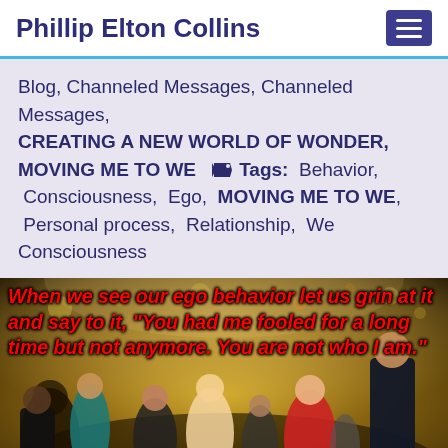Phillip Elton Collins
Blog, Channeled Messages, Channeled Messages, CREATING A NEW WORLD OF WONDER, MOVING ME TO WE  Tags:  Behavior,  Consciousness,  Ego,  MOVING ME TO WE,  Personal process,  Relationship,  We Consciousness
[Figure (photo): Photo of a crowd of people at a party/event with a red italic bold quote overlay reading: When we see our ego behavior let us grin at it and say to it, "You had me fooled for a long time but not anymore. You are not who I am."]